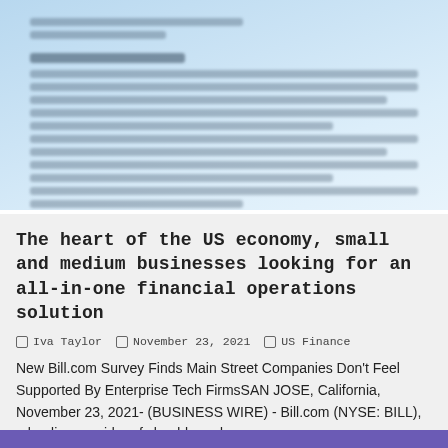[Figure (screenshot): Blurred/redacted document text on a light blue gradient background, showing partial paragraphs and headings that are not legible]
The heart of the US economy, small and medium businesses looking for an all-in-one financial operations solution
Iva Taylor  |  November 23, 2021  |  US Finance
New Bill.com Survey Finds Main Street Companies Don't Feel Supported By Enterprise Tech FirmsSAN JOSE, California, November 23, 2021- (BUSINESS WIRE) - Bill.com (NYSE: BILL), a leading provider of cloud-based s...
[Figure (other): Purple/violet bar at the bottom of the page]